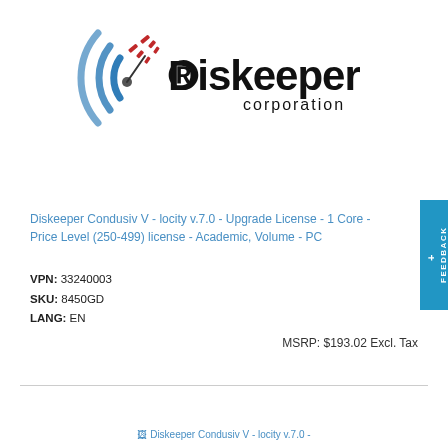[Figure (logo): Diskeeper Corporation logo with blue circular wave graphic and red arrow/dash elements, bold 'Diskeeper' text and 'corporation' subtitle]
Diskeeper Condusiv V - locity v.7.0 - Upgrade License - 1 Core - Price Level (250-499) license - Academic, Volume - PC
VPN: 33240003
SKU: 8450GD
LANG: EN
MSRP: $193.02 Excl. Tax
[Figure (other): Diskeeper Condusiv V - locity v.7.0 - product image thumbnail (partially visible)]